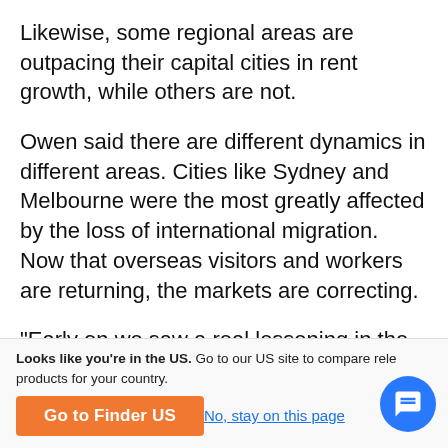Likewise, some regional areas are outpacing their capital cities in rent growth, while others are not.
Owen said there are different dynamics in different areas. Cities like Sydney and Melbourne were the most greatly affected by the loss of international migration. Now that overseas visitors and workers are returning, the markets are correcting.
"Early on we saw a real lessening in the Melbourne rental market because it has been supported by overseas migration," Owen said. "So during COVID the
Looks like you're in the US. Go to our US site to compare rele products for your country.
Go to Finder US
No, stay on this page